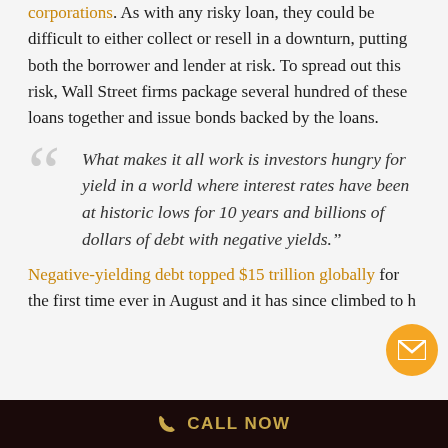corporations. As with any risky loan, they could be difficult to either collect or resell in a downturn, putting both the borrower and lender at risk. To spread out this risk, Wall Street firms package several hundred of these loans together and issue bonds backed by the loans.
"What makes it all work is investors hungry for yield in a world where interest rates have been at historic lows for 10 years and billions of dollars of debt with negative yields."
Negative-yielding debt topped $15 trillion globally for the first time ever in August and it has since climbed to h
CALL NOW